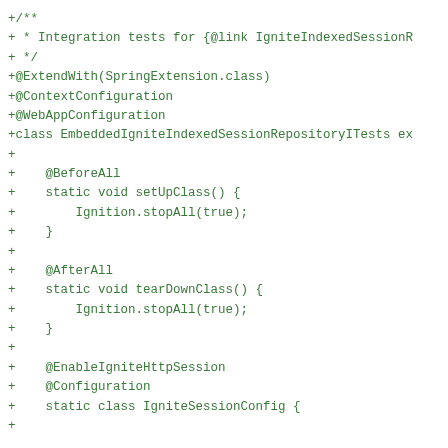+/**
+ * Integration tests for {@link IgniteIndexedSessionR
+ */
+@ExtendWith(SpringExtension.class)
+@ContextConfiguration
+@WebAppConfiguration
+class EmbeddedIgniteIndexedSessionRepositoryITests ex
+
+    @BeforeAll
+    static void setUpClass() {
+        Ignition.stopAll(true);
+    }
+
+    @AfterAll
+    static void tearDownClass() {
+        Ignition.stopAll(true);
+    }
+
+    @EnableIgniteHttpSession
+    @Configuration
+    static class IgniteSessionConfig {
+